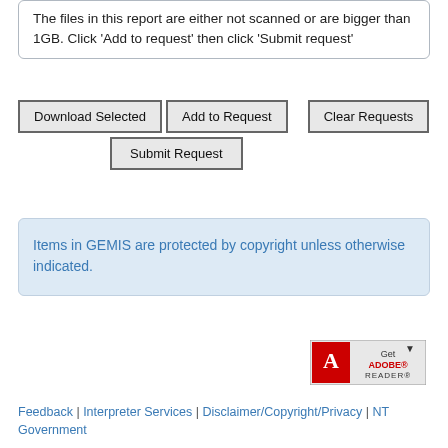The files in this report are either not scanned or are bigger than 1GB. Click 'Add to request' then click 'Submit request'
Download Selected | Add to Request | Clear Requests | Submit Request
Items in GEMIS are protected by copyright unless otherwise indicated.
[Figure (logo): Get Adobe Reader badge/button with red Adobe PDF icon and download arrow]
Feedback | Interpreter Services | Disclaimer/Copyright/Privacy | NT Government